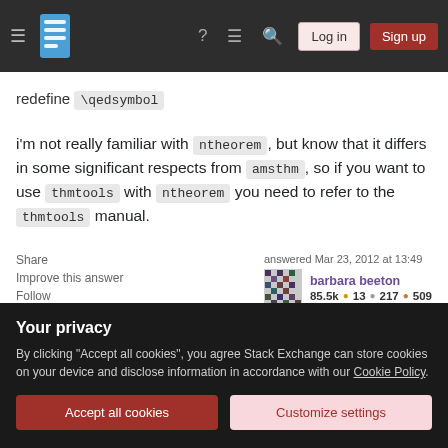Stack Exchange navigation bar with hamburger menu, logo, help, chat, search, Log in, Sign up
redefine \qedsymbol
i'm not really familiar with ntheorem, but know that it differs in some significant respects from amsthm, so if you want to use thmtools with ntheorem you need to refer to the thmtools manual.
Share   Improve this answer   Follow   answered Mar 23, 2012 at 13:49   barbara beeton   85.5k  13  217  509
Thanks for your reply. I know about the \qedhere
Your privacy
By clicking "Accept all cookies", you agree Stack Exchange can store cookies on your device and disclose information in accordance with our Cookie Policy.
Accept all cookies   Customize settings